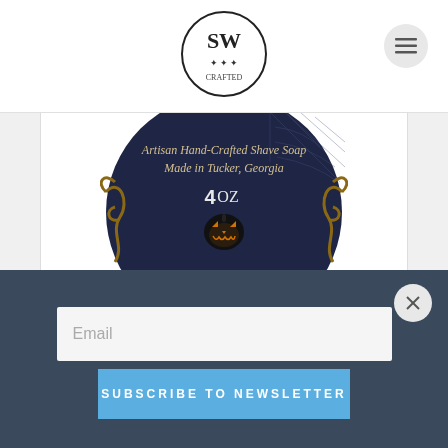SWC logo and navigation menu
[Figure (photo): Circular artisan shave soap label with dark navy background, ornate golden vine decorations, spider webs, text 'Artisan Hand-Crafted Shave Soap Made in Tucker, Georgia', '4 OZ', and a glowing jack-o-lantern pumpkin icon.]
Samhain Vegan Shave Soap
$16.00
Email
Subscribe to newsletter